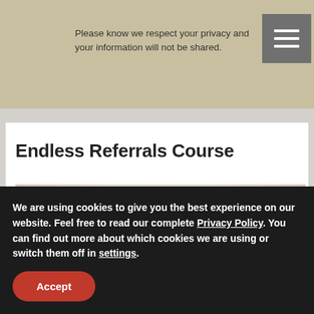Please know we respect your privacy and your information will not be shared.
Endless Referrals Course
[Figure (photo): Group of people networking in a professional setting, seen from behind and side angles, blurred background]
We are using cookies to give you the best experience on our website. Feel free to read our complete Privacy Policy. You can find out more about which cookies we are using or switch them off in settings.
Accept